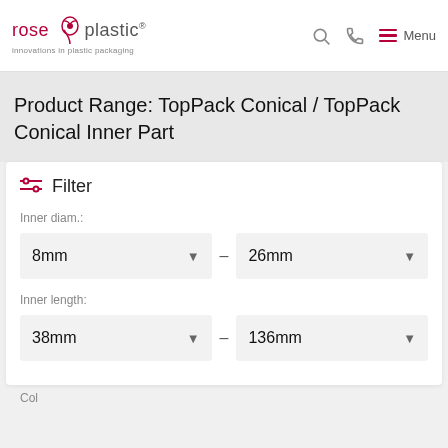rose plastic – innovations in plastic packaging
Product Range: TopPack Conical / TopPack Conical Inner Part
Filter
Inner diam.:
8mm – 26mm
Inner length:
38mm – 136mm
Col